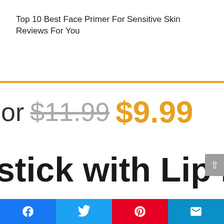Top 10 Best Face Primer For Sensitive Skin Reviews For You
or $11.99 $9.99
stick with Lip Plum
[Figure (logo): Amazon Prime logo partial text 'prime' in blue and dark]
Social share bar: Facebook, Twitter, Pinterest, Email